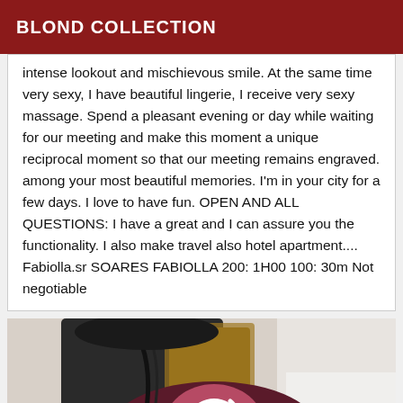BLOND COLLECTION
intense lookout and mischievous smile. At the same time very sexy, I have beautiful lingerie, I receive very sexy massage. Spend a pleasant evening or day while waiting for our meeting and make this moment a unique reciprocal moment so that our meeting remains engraved. among your most beautiful memories. I'm in your city for a few days. I love to have fun. OPEN AND ALL QUESTIONS: I have a great and I can assure you the functionality. I also make travel also hotel apartment.... Fabiolla.sr SOARES FABIOLLA 200: 1H00 100: 30m Not negotiable
[Figure (photo): Photo of a person wearing a dark maroon/purple outfit with a pink and white logo/emblem visible, taken indoors]